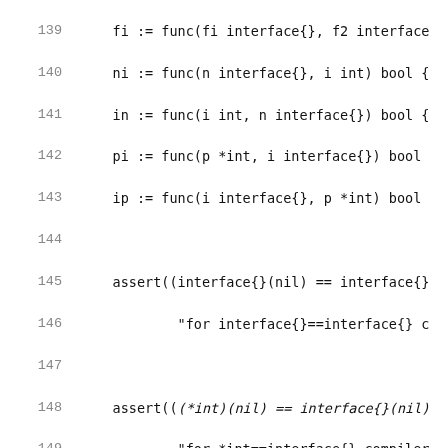Code listing lines 139-160 showing Go language interface{} comparison assertions